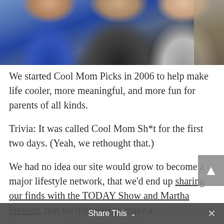[Figure (photo): Photo of people (women) sitting together, one in a blue top, others in dark clothing, with cardboard boxes in the background]
We started Cool Mom Picks in 2006 to help make life cooler, more meaningful, and more fun for parents of all kinds.
Trivia: It was called Cool Mom Sh*t for the first two days. (Yeah, we rethought that.)
We had no idea our site would grow to become a major lifestyle network, that we'd end up sharing our finds with the TODAY Show and Martha Stewart, that we'd be able to make a real difference for so many small businesses and women-run companies, or that we'd end up with an incredible community of the coolest readers on the planet. (If we do say so.